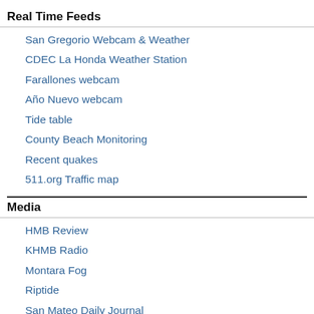Real Time Feeds
San Gregorio Webcam & Weather
CDEC La Honda Weather Station
Farallones webcam
Año Nuevo webcam
Tide table
County Beach Monitoring
Recent quakes
511.org Traffic map
Media
HMB Review
KHMB Radio
Montara Fog
Riptide
San Mateo Daily Journal
About Coastsider
Email Editor